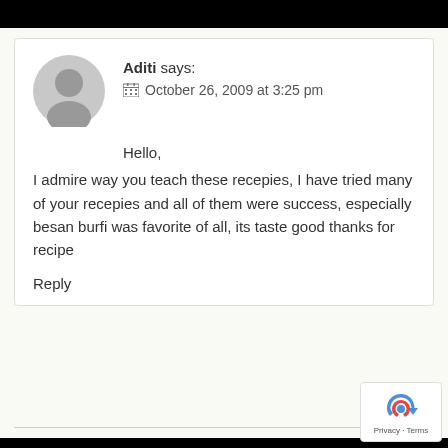Aditi says: October 26, 2009 at 3:25 pm
Hello,
I admire way you teach these recepies, I have tried many of your recepies and all of them were success, especially besan burfi was favorite of all, its taste good thanks for recipe
Reply